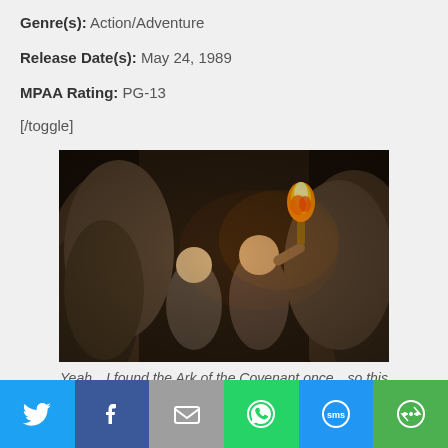Genre(s): Action/Adventure
Release Date(s): May 24, 1989
MPAA Rating: PG-13
[/toggle]
[Figure (photo): Movie still showing two people in a dark cave/tunnel, one holding a torch with flame, rocky walls surrounding them.]
Yeah…I found the Ark of the Covenant once…so this